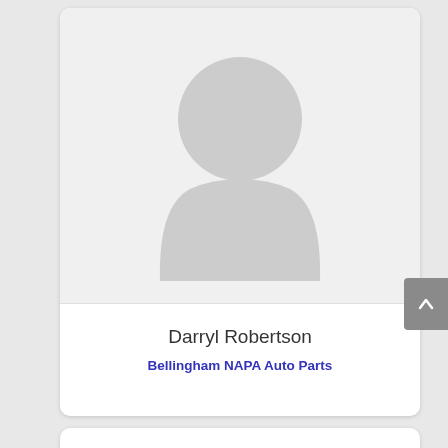[Figure (illustration): Generic user avatar silhouette (gray circle head and body shape) on a light gray background]
Darryl Robertson
Bellingham NAPA Auto Parts